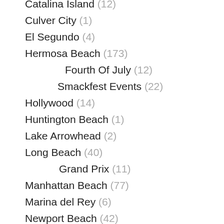Catalina Island (12)
Culver City (1)
El Segundo (4)
Hermosa Beach (173)
Fourth Of July (12)
Smackfest Events (22)
Hollywood (14)
Huntington Beach (1)
Lake Arrowhead (2)
Long Beach (40)
Grand Prix (11)
Manhattan Beach (77)
Marina del Rey (6)
Newport Beach (42)
Orange County (26)
Party Report (15)
Redondo Beach (81)
Santa Monica (3)